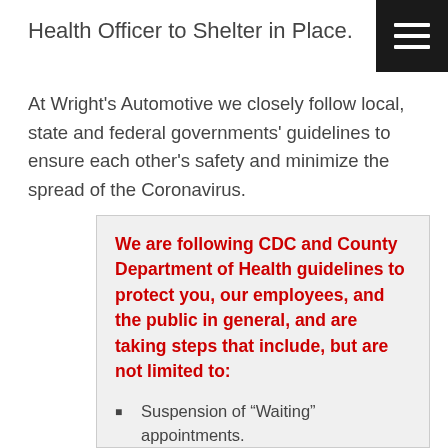Health Officer to Shelter in Place.
At Wright's Automotive we closely follow local, state and federal governments' guidelines to ensure each other's safety and minimize the spread of the Coronavirus.
We are following CDC and County Department of Health guidelines to protect you, our employees, and the public in general, and are taking steps that include, but are not limited to:
Suspension of “Waiting” appointments.
When in a vehicle, staff continues to wear gloves.